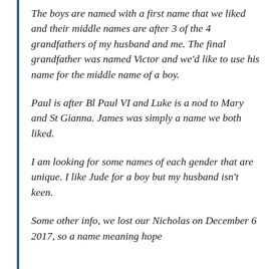The boys are named with a first name that we liked and their middle names are after 3 of the 4 grandfathers of my husband and me. The final grandfather was named Victor and we'd like to use his name for the middle name of a boy.
Paul is after Bl Paul VI and Luke is a nod to Mary and St Gianna. James was simply a name we both liked.
I am looking for some names of each gender that are unique. I like Jude for a boy but my husband isn't keen.
Some other info, we lost our Nicholas on December 6 2017, so a name meaning hope